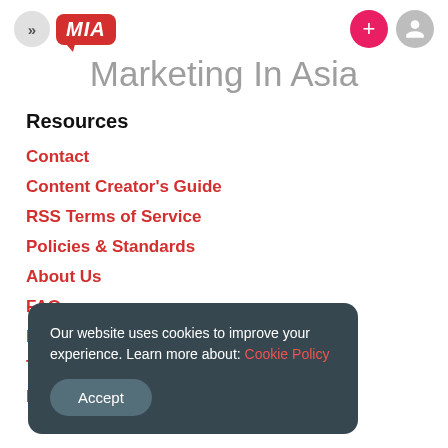Marketing In Asia
Resources
Contact
Content Creator's Guide
RSS Terms of Service
Policies & Standards
About Us
FAQ
Our website uses cookies to improve your experience. Learn more about: Cookie Policy
Accept